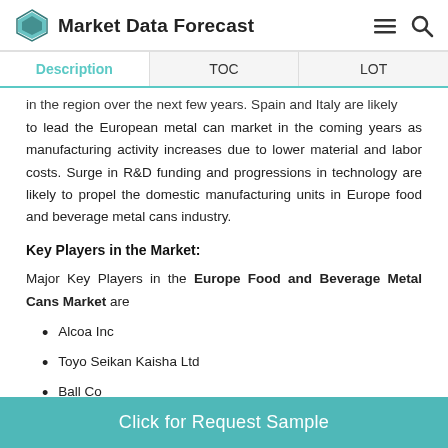Market Data Forecast
Description | TOC | LOT
in the region over the next few years. Spain and Italy are likely to lead the European metal can market in the coming years as manufacturing activity increases due to lower material and labor costs. Surge in R&D funding and progressions in technology are likely to propel the domestic manufacturing units in Europe food and beverage metal cans industry.
Key Players in the Market:
Major Key Players in the Europe Food and Beverage Metal Cans Market are
Alcoa Inc
Toyo Seikan Kaisha Ltd
Ball Co...
Click for Request Sample